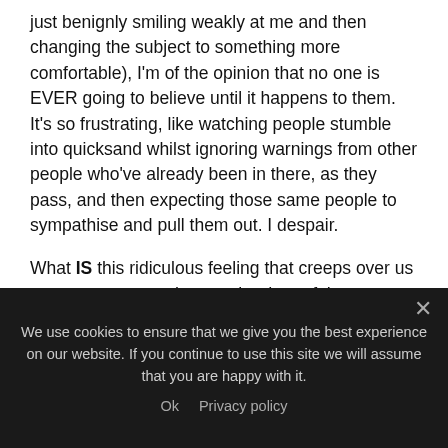just benignly smiling weakly at me and then changing the subject to something more comfortable), I'm of the opinion that no one is EVER going to believe until it happens to them. It's so frustrating, like watching people stumble into quicksand whilst ignoring warnings from other people who've already been in there, as they pass, and then expecting those same people to sympathise and pull them out. I despair.
What IS this ridiculous feeling that creeps over us as soon as we push open the door of the surgery and lower ourselves onto the chair? Do we think
We use cookies to ensure that we give you the best experience on our website. If you continue to use this site we will assume that you are happy with it.
Ok   Privacy policy